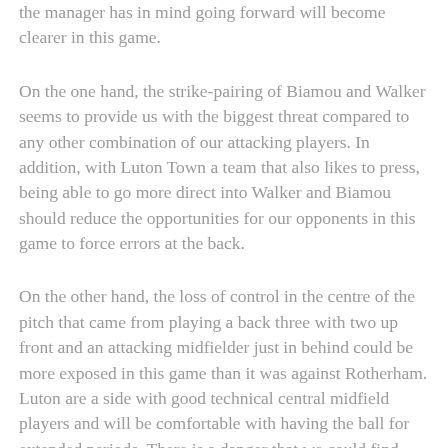the manager has in mind going forward will become clearer in this game.
On the one hand, the strike-pairing of Biamou and Walker seems to provide us with the biggest threat compared to any other combination of our attacking players. In addition, with Luton Town a team that also likes to press, being able to go more direct into Walker and Biamou should reduce the opportunities for our opponents in this game to force errors at the back.
On the other hand, the loss of control in the centre of the pitch that came from playing a back three with two up front and an attacking midfielder just in behind could be more exposed in this game than it was against Rotherham. Luton are a side with good technical central midfield players and will be comfortable with having the ball for extended periods. There is a danger that we could find ourselves stretched out of possession, if we replicate what was effectively a two-man midfield set-up.
Furthermore, concerns over individual players' fitness is likely to